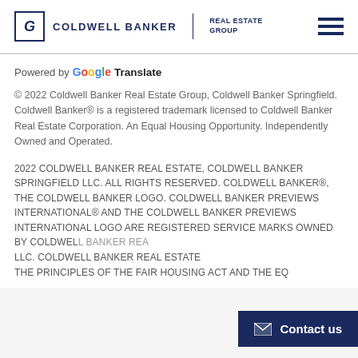[Figure (logo): Coldwell Banker Real Estate Group logo with CB icon in box and hamburger menu icon]
Powered by Google Translate
© 2022 Coldwell Banker Real Estate Group, Coldwell Banker Springfield. Coldwell Banker® is a registered trademark licensed to Coldwell Banker Real Estate Corporation. An Equal Housing Opportunity. Independently Owned and Operated.
2022 COLDWELL BANKER REAL ESTATE, COLDWELL BANKER SPRINGFIELD LLC. ALL RIGHTS RESERVED. COLDWELL BANKER®, THE COLDWELL BANKER LOGO. COLDWELL BANKER PREVIEWS INTERNATIONAL® AND THE COLDWELL BANKER PREVIEWS INTERNATIONAL LOGO ARE REGISTERED SERVICE MARKS OWNED BY COLDWELL BANKER REAL ESTATE LLC. COLDWELL BANKER REAL ESTATE THE PRINCIPLES OF THE FAIR HOUSING ACT AND THE EQ
[Figure (other): Contact us button with envelope icon on dark navy background]